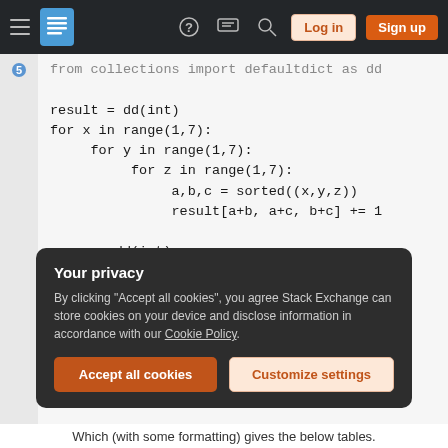Stack Exchange navigation bar with hamburger menu, logo, help icon, chat icon, search icon, Log in button, Sign up button
[Figure (screenshot): Python code snippet showing nested for loops using defaultdict. Code: from collections import defaultdict as dd; result = dd(int); for x in range(1,7): for y in range(1,7): for z in range(1,7): a,b,c = sorted((x,y,z)); result[a+b, a+c, b+c] += 1; accum = dd(int); for key,value in result.items(): for a in set(key): accum[a]+=value]
Your privacy
By clicking "Accept all cookies", you agree Stack Exchange can store cookies on your device and disclose information in accordance with our Cookie Policy.
Accept all cookies   Customize settings
Which (with some formatting) gives the below tables.